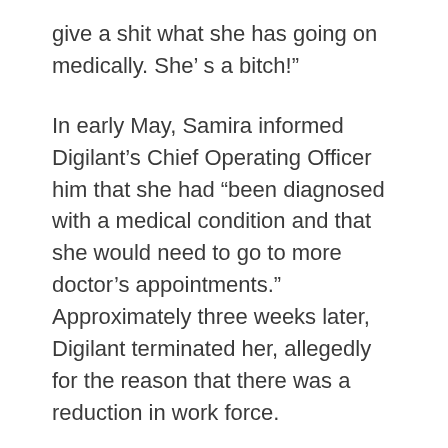give a shit what she has going on medically. She’ s a bitch!”
In early May, Samira informed Digilant’s Chief Operating Officer him that she had “been diagnosed with a medical condition and that she would need to go to more doctor’s appointments.” Approximately three weeks later, Digilant terminated her, allegedly for the reason that there was a reduction in work force.
The lawsuit seeks damages for lost wages (front and back pay), benefits and career opportunities, special damages, punitive